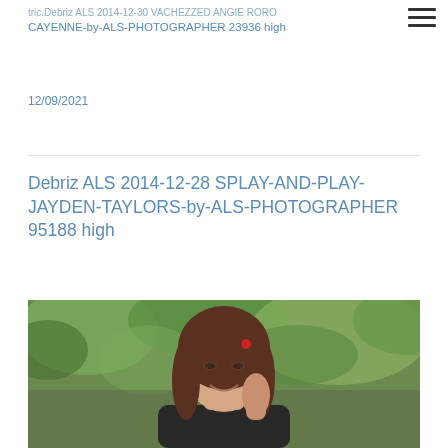tric.Debriz ALS 2014-12-30 VACHEZZED ANGIE RORO CAYENNE-by-ALS-PHOTOGRAPHER 23936 high
12/09/2021
Debriz ALS 2014-12-28 SPLAY-AND-PLAY-JAYDEN-TAYLORS-by-ALS-PHOTOGRAPHER 95188 high
[Figure (photo): Portrait photo of a young woman with long brown hair and a red hair clip, smiling, with green foliage in the background, hand near her face]